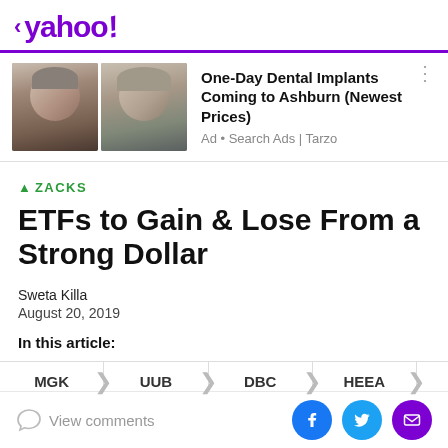< yahoo!
[Figure (photo): Two side-by-side photos of older men (dental implant ad)]
One-Day Dental Implants Coming to Ashburn (Newest Prices)
Ad • Search Ads | Tarzo
▲ ZACKS
ETFs to Gain & Lose From a Strong Dollar
Sweta Killa
August 20, 2019
In this article:
MGK | UUB | DBC | HEEA
View comments